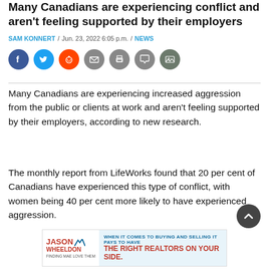Many Canadians are experiencing conflict and aren't feeling supported by their employers
SAM KONNERT / Jun. 23, 2022 6:05 p.m. / NEWS
[Figure (infographic): Row of social sharing icon circles: Facebook (blue), Twitter (light blue), Reddit (orange), Email (grey), Print (grey), Comment (grey), Photo/Gallery (dark grey-green)]
Many Canadians are experiencing increased aggression from the public or clients at work and aren't feeling supported by their employers, according to new research.
The monthly report from LifeWorks found that 20 per cent of Canadians have experienced this type of conflict, with women being 40 per cent more likely to have experienced aggression.
[Figure (other): Advertisement banner for Jason Wheeldon real estate: 'WHEN IT COMES TO BUYING AND SELLING IT PAYS TO HAVE THE RIGHT REALTORS ON YOUR SIDE.']